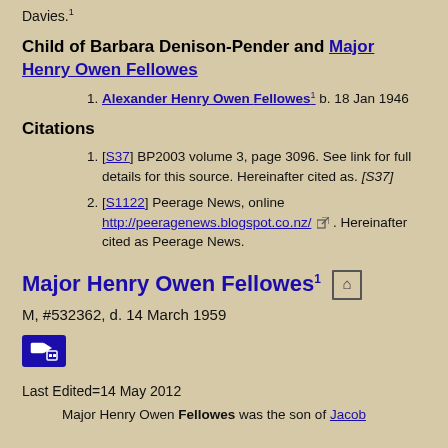Davies.1
Child of Barbara Denison-Pender and Major Henry Owen Fellowes
1. Alexander Henry Owen Fellowes1 b. 18 Jan 1946
Citations
1. [S37] BP2003 volume 3, page 3096. See link for full details for this source. Hereinafter cited as. [S37]
2. [S1122] Peerage News, online http://peeragenews.blogspot.co.nz/. Hereinafter cited as Peerage News.
Major Henry Owen Fellowes1
M, #532362, d. 14 March 1959
Last Edited=14 May 2012
Major Henry Owen Fellowes was the son of Jacob